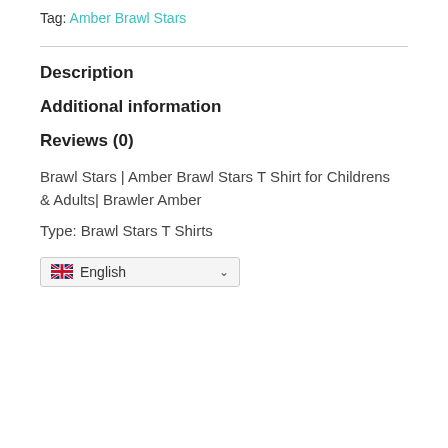Tag: Amber Brawl Stars
Description
Additional information
Reviews (0)
Brawl Stars | Amber Brawl Stars T Shirt for Childrens & Adults| Brawler Amber
Type: Brawl Stars T Shirts
English